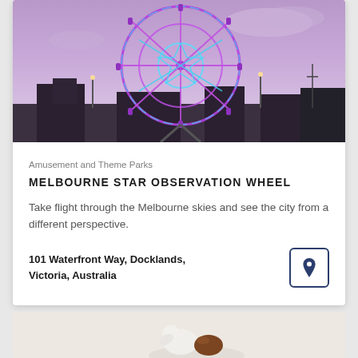[Figure (photo): Melbourne Star Observation Wheel (giant Ferris wheel) illuminated with purple and cyan neon lights against a dusk sky with clouds. City buildings and street lights visible below.]
Amusement and Theme Parks
MELBOURNE STAR OBSERVATION WHEEL
Take flight through the Melbourne skies and see the city from a different perspective.
101 Waterfront Way, Docklands, Victoria, Australia
[Figure (photo): Ceramic animal figurines (birds/animals in white, brown, red, and blue colors) on a light background.]